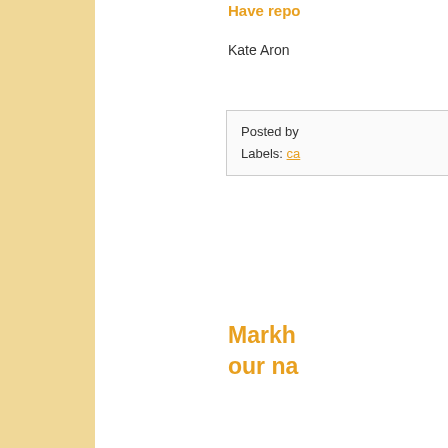Have repo
Kate Aron
Posted by
Labels: ca
Markh our na
This is a fa
The pow our ide pra fail rep a s our alte